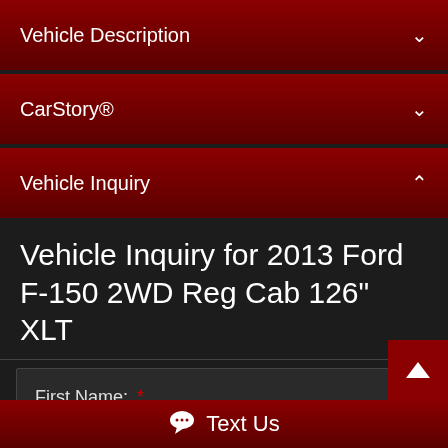Vehicle Description
CarStory®
Vehicle Inquiry
Vehicle Inquiry for 2013 Ford F-150 2WD Reg Cab 126" XLT
First Name: *
Last Name: *